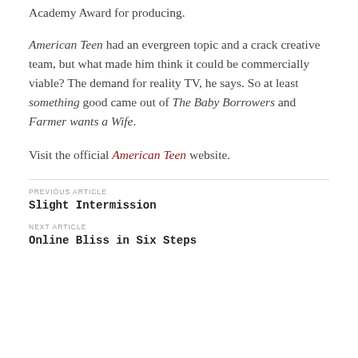Academy Award for producing.
American Teen had an evergreen topic and a crack creative team, but what made him think it could be commercially viable? The demand for reality TV, he says. So at least something good came out of The Baby Borrowers and Farmer wants a Wife.
Visit the official American Teen website.
PREVIOUS ARTICLE
Slight Intermission
NEXT ARTICLE
Online Bliss in Six Steps